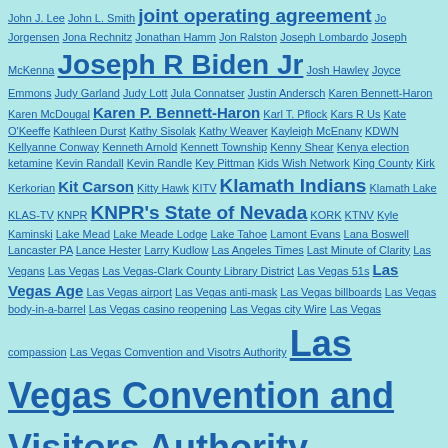John J. Lee John L. Smith joint operating agreement Jo Jorgensen Jona Rechnitz Jonathan Hamm Jon Ralston Joseph Lombardo Joseph McKenna Joseph R Biden Jr Josh Hawley Joyce Emmons Judy Garland Judy Lott Jula Connatser Justin Andersch Karen Bennett-Haron Karen McDougal Karen P. Bennett-Haron Karl T. Pflock Kars R Us Kate O'Keeffe Kathleen Durst Kathy Sisolak Kathy Weaver Kayleigh McEnany KDWN Kellyanne Conway Kenneth Arnold Kennett Township Kenny Shear Kenya election ketamine Kevin Randall Kevin Randle Key Pittman Kids Wish Network King County Kirk Kerkorian Kit Carson Kitty Hawk KITV Klamath Indians Klamath Lake KLAS-TV KNPR KNPR's State of Nevada KORK KTNV Kyle Kaminski Lake Mead Lake Meade Lodge Lake Tahoe Lamont Evans Lana Boswell Lancaster PA Lance Hester Larry Kudlow Las Angeles Times Last Minute of Clarity Las Vegans Las Vegas Las Vegas-Clark County Library District Las Vegas 51s Las Vegas Age Las Vegas airport Las Vegas anti-mask Las Vegas billboards Las Vegas body-in-a-barrel Las Vegas casino reopening Las Vegas city Wire Las Vegas compassion Las Vegas Comvention and Visotrs Authority Las Vegas Convention and Visitors Authority Las Vegas Convention and Visitors Bureau Las Vegas Convention Center Las Vegas coronavirus Las Vegas COVID-19 Las Vegas COVID-19 death rate Las Vegas COVID-19 rate Las Vegas crime Las Vegas crime rate Las Vegas dog crime Las Vegas drivers Las Vegas